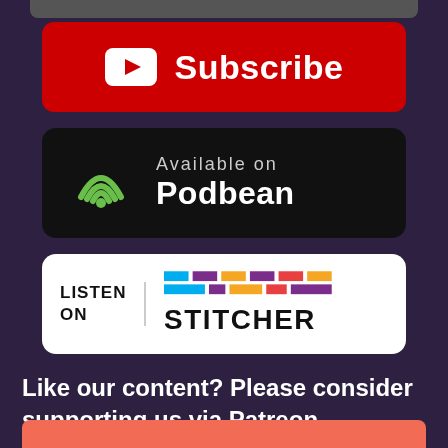[Figure (logo): YouTube Subscribe button — red rounded rectangle with white YouTube play icon and white 'Subscribe' text]
[Figure (logo): Podbean badge — black rounded rectangle with green wifi/podcast icon and 'Available on Podbean' text]
[Figure (logo): Stitcher badge — white rounded rectangle with 'LISTEN ON' text and colorful Stitcher logo]
Like our content? Please consider supporting us via Patreon